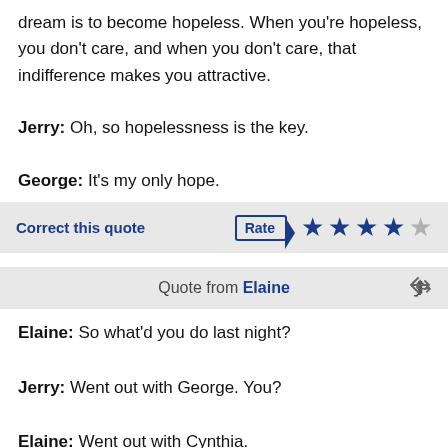dream is to become hopeless. When you're hopeless, you don't care, and when you don't care, that indifference makes you attractive.
Jerry: Oh, so hopelessness is the key.
George: It's my only hope.
Correct this quote | Rate ★★★★☆
Quote from Elaine
Elaine: So what'd you do last night?
Jerry: Went out with George. You?
Elaine: Went out with Cynthia.